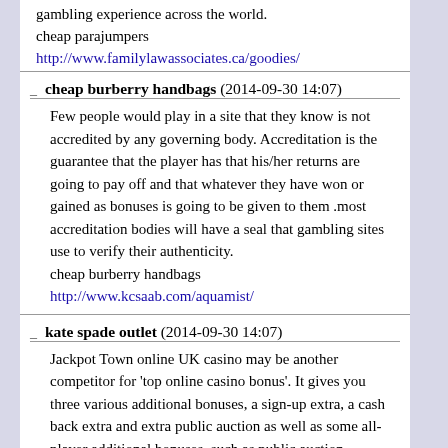gambling experience across the world.
cheap parajumpers
http://www.familylawassociates.ca/goodies/
cheap burberry handbags (2014-09-30 14:07)
Few people would play in a site that they know is not accredited by any governing body. Accreditation is the guarantee that the player has that his/her returns are going to pay off and that whatever they have won or gained as bonuses is going to be given to them .most accreditation bodies will have a seal that gambling sites use to verify their authenticity.
cheap burberry handbags
http://www.kcsaab.com/aquamist/
kate spade outlet (2014-09-30 14:07)
Jackpot Town online UK casino may be another competitor for 'top online casino bonus'. It gives you three various additional bonuses, a sign-up extra, a cash back extra and extra public auction as well as some all-player additional bonuses, such as public auction solutions. Again, the sign-up extra is the best online casino extra here as a new gamer will gather an additional $200 when they invest at least $200 into their new consideration.
kate spade outlet http://xperiencetech.com/online/